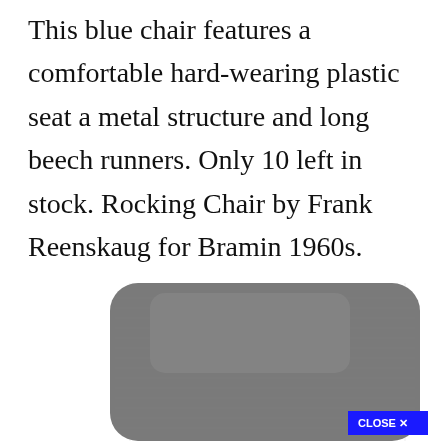This blue chair features a comfortable hard-wearing plastic seat a metal structure and long beech runners. Only 10 left in stock. Rocking Chair by Frank Reenskaug for Bramin 1960s. Eiffel Inspired White and Dark Grey Dining Chair - Various Leg Bases. Scandinavian Rocking Chair by Lena Larsson for Nesto 1950s.
[Figure (photo): Partial image of a grey fabric upholstered chair seat/back, viewed from above at an angle, with a blue 'CLOSE X' button overlay in the bottom right area of the image.]